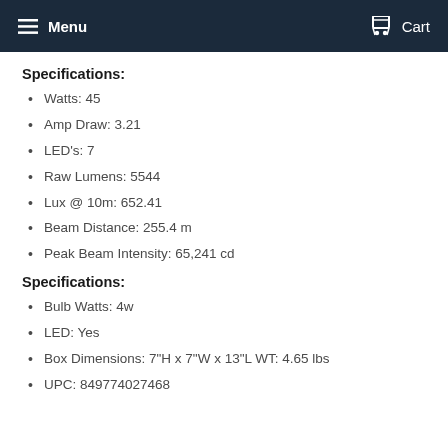Menu   Cart
Specifications:
Watts: 45
Amp Draw: 3.21
LED's: 7
Raw Lumens: 5544
Lux @ 10m: 652.41
Beam Distance: 255.4 m
Peak Beam Intensity: 65,241 cd
Specifications:
Bulb Watts: 4w
LED: Yes
Box Dimensions: 7"H x 7"W x 13"L WT: 4.65 lbs
UPC: 849774027468